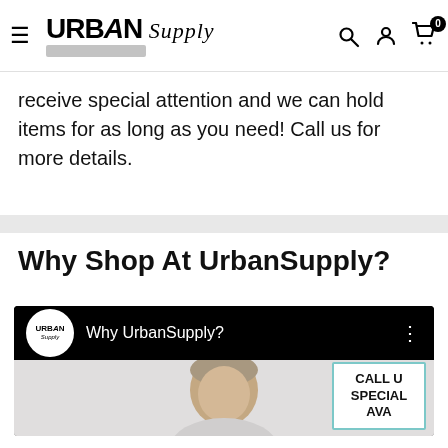URBAN Supply — navbar with hamburger menu, search, account, and cart icons
receive special attention and we can hold items for as long as you need! Call us for more details.
Why Shop At UrbanSupply?
[Figure (screenshot): YouTube-style video thumbnail with black top bar showing UrbanSupply logo circle and title 'Why UrbanSupply?', with a man's face and a 'CALL / SPECIAL / AVA' teal-bordered box below]